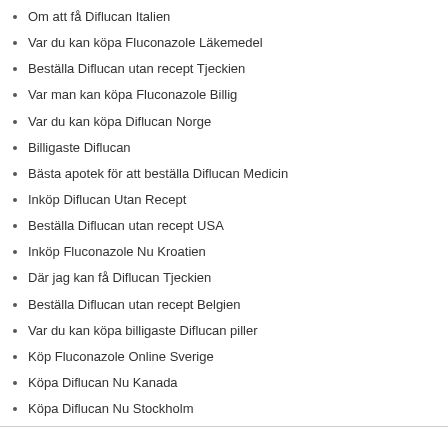Om att få Diflucan Italien
Var du kan köpa Fluconazole Läkemedel
Beställa Diflucan utan recept Tjeckien
Var man kan köpa Fluconazole Billig
Var du kan köpa Diflucan Norge
Billigaste Diflucan
Bästa apotek för att beställa Diflucan Medicin
Inköp Diflucan Utan Recept
Beställa Diflucan utan recept USA
Inköp Fluconazole Nu Kroatien
Där jag kan få Diflucan Tjeckien
Beställa Diflucan utan recept Belgien
Var du kan köpa billigaste Diflucan piller
Köp Fluconazole Online Sverige
Köpa Diflucan Nu Kanada
Köpa Diflucan Nu Stockholm